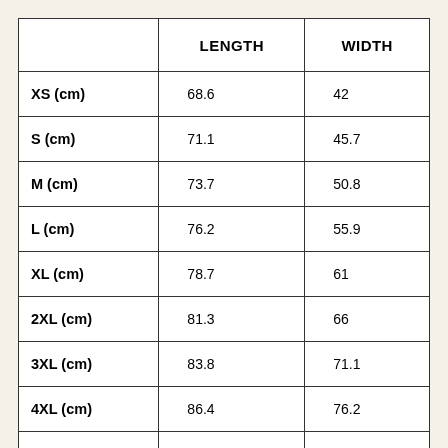|  | LENGTH | WIDTH |
| --- | --- | --- |
| XS (cm) | 68.6 | 42 |
| S (cm) | 71.1 | 45.7 |
| M (cm) | 73.7 | 50.8 |
| L (cm) | 76.2 | 55.9 |
| XL (cm) | 78.7 | 61 |
| 2XL (cm) | 81.3 | 66 |
| 3XL (cm) | 83.8 | 71.1 |
| 4XL (cm) | 86.4 | 76.2 |
|  |  |  |